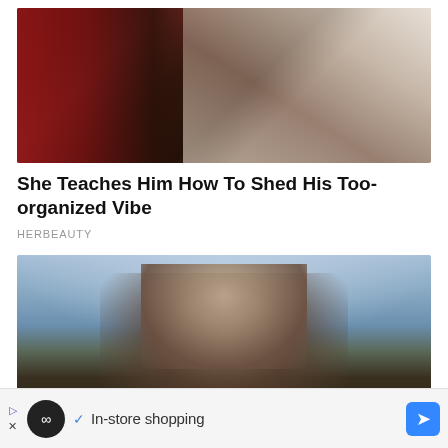[Figure (photo): Two people on a bed, woman in red outfit and man in white shirt lying down]
She Teaches Him How To Shed His Too-organized Vibe
HERBEAUTY
[Figure (photo): Young woman with long dark brown hair, blue eyes, outdoors with city skyline and clouds in background]
In-store shopping